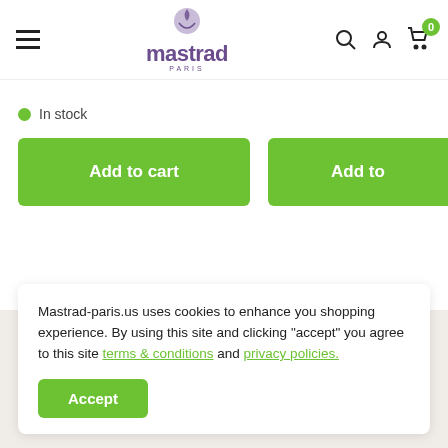[Figure (logo): Mastrad Paris logo with plum icon and hamburger menu, search, user, and cart icons in header]
In stock
Add to cart
Add to
[Figure (illustration): 3D box/package icon in purple with green stripes on the lid, on a beige background]
Mastrad-paris.us uses cookies to enhance you shopping experience. By using this site and clicking "accept" you agree to this site terms & conditions and privacy policies.
Accept